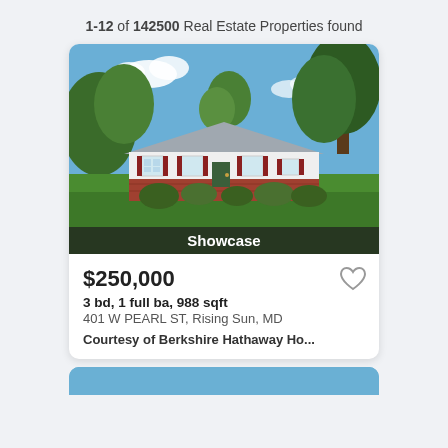1-12 of 142500 Real Estate Properties found
[Figure (photo): Exterior photo of a single-story ranch house with white siding, brick base, red shutters, a large green lawn, and mature trees. A dark overlay bar at the bottom reads 'Showcase'.]
$250,000
3 bd, 1 full ba, 988 sqft
401 W PEARL ST, Rising Sun, MD
Courtesy of Berkshire Hathaway Ho...